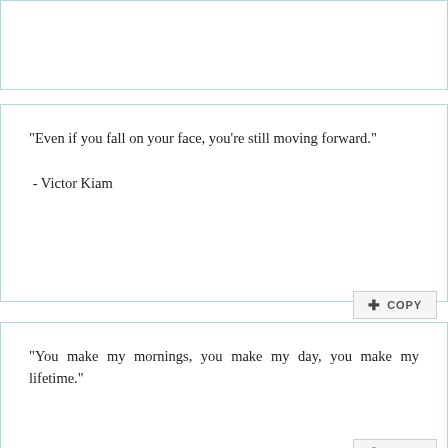[Figure (screenshot): Partial top card with no visible text content]
"Even if you fall on your face, you're still moving forward."

 - Victor Kiam
"You make my mornings, you make my day, you make my lifetime."